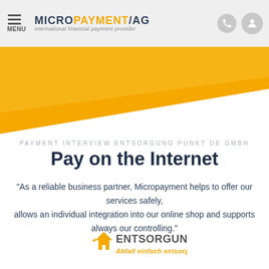MICROPAYMENT AG — international financial payment provider
[Figure (illustration): Orange and white diagonal wave banner graphic]
PAYMENT INTERVIEW ENTSORGUNG PUNKT DE GMBH
Pay on the Internet
"As a reliable business partner, Micropayment helps to offer our services safely, allows an individual integration into our online shop and supports always our controlling."
[Figure (logo): Entsorgung.de logo — house icon with orange and grey text, tagline: Abfall einfach entsorgen]